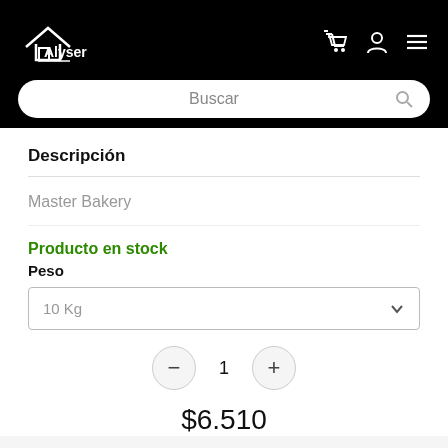[Figure (logo): Alyser home improvement store logo in white on black background, with house icon]
Buscar
Descripción
Master Bakery
Producto en stock
Peso
10 Kg
1
$6.510